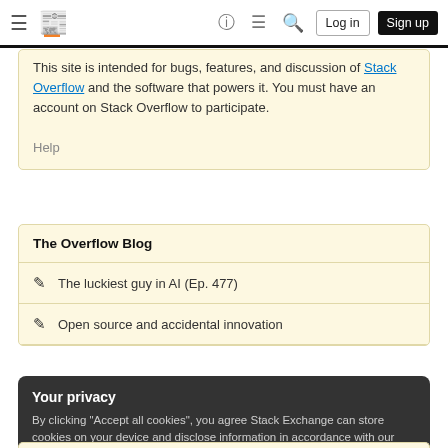Stack Overflow navigation bar with hamburger menu, logo, help, chat, search icons, Log in and Sign up buttons
This site is intended for bugs, features, and discussion of Stack Overflow and the software that powers it. You must have an account on Stack Overflow to participate.
Help
The Overflow Blog
The luckiest guy in AI (Ep. 477)
Open source and accidental innovation
Your privacy
By clicking "Accept all cookies", you agree Stack Exchange can store cookies on your device and disclose information in accordance with our Cookie Policy.
Accept all cookies | Customize settings